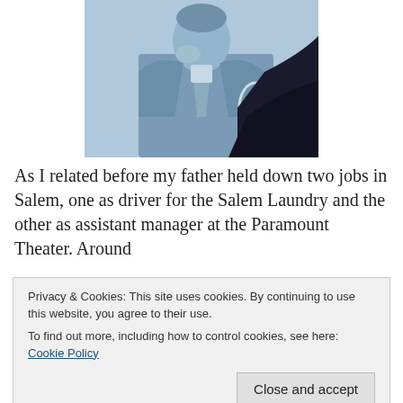[Figure (photo): Black and white photo with blue tint of a man in a suit, seated, resting his chin on his hand in a thoughtful pose. A dark silhouette is visible on the right side of the image.]
As I related before my father held down two jobs in Salem, one as driver for the Salem Laundry and the other as assistant manager at the Paramount Theater. Around about 1964, an opportunity came to him to apply to a new
Privacy & Cookies: This site uses cookies. By continuing to use this website, you agree to their use.
To find out more, including how to control cookies, see here: Cookie Policy
Close and accept
Their plans for a single screen cinema in the Peabody